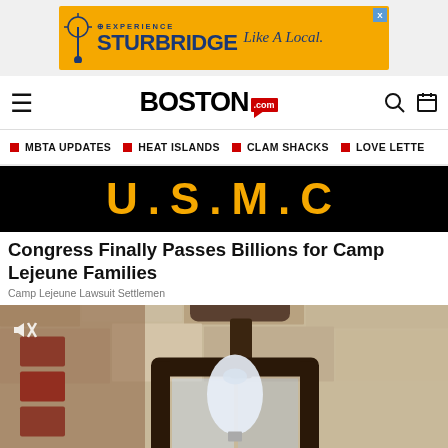[Figure (infographic): Experience Sturbridge advertisement banner with yellow background, dark blue text reading EXPERIENCE STURBRIDGE Like A Local., with crosshair/scope logo icon on the left, and X close button in top right corner.]
BOSTON .com
MBTA UPDATES  HEAT ISLANDS  CLAM SHACKS  LOVE LETTE
[Figure (photo): Black banner with U.S.M.C. text in large gold/orange letters on black background.]
Congress Finally Passes Billions for Camp Lejeune Families
Camp Lejeune Lawsuit Settlemen
[Figure (photo): Photo of an outdoor wall-mounted lantern light fixture with a white bulb visible through dark metal frame, mounted on a textured stone or concrete wall. A mute/speaker icon is visible in the upper left corner of the image.]